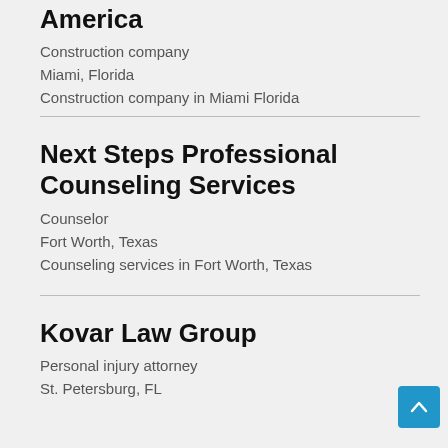America
Construction company
Miami, Florida
Construction company in Miami Florida
Next Steps Professional Counseling Services
Counselor
Fort Worth, Texas
Counseling services in Fort Worth, Texas
Kovar Law Group
Personal injury attorney
St. Petersburg, FL